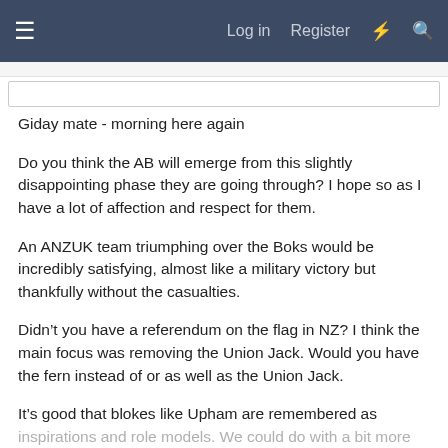≡  Log in  Register  ⚡  🔍
Giday mate - morning here again
Do you think the AB will emerge from this slightly disappointing phase they are going through? I hope so as I have a lot of affection and respect for them.
An ANZUK team triumphing over the Boks would be incredibly satisfying, almost like a military victory but thankfully without the casualties.
Didn't you have a referendum on the flag in NZ? I think the main focus was removing the Union Jack. Would you have the fern instead of or as well as the Union Jack.
It's good that blokes like Upham are remembered as inspirations and role models. We could do with a bit more selflessness in public life here; it is becoming very much...